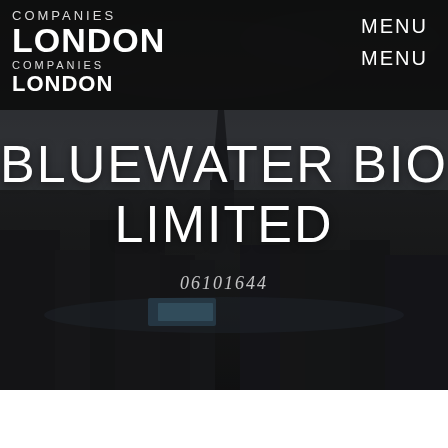[Figure (photo): Aerial view of London city skyline with dark overlay, showing river Thames, skyscrapers and historic buildings under a cloudy sky]
COMPANIES LONDON COMPANIES LONDON
MENU MENU
BLUEWATER BIO LIMITED
06101644